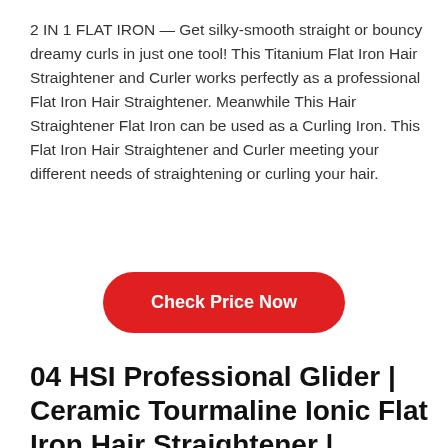2 IN 1 FLAT IRON — Get silky-smooth straight or bouncy dreamy curls in just one tool! This Titanium Flat Iron Hair Straightener and Curler works perfectly as a professional Flat Iron Hair Straightener. Meanwhile This Hair Straightener Flat Iron can be used as a Curling Iron. This Flat Iron Hair Straightener and Curler meeting your different needs of straightening or curling your hair.
[Figure (other): Red rounded button with white bold text 'Check Price Now']
04 HSI Professional Glider | Ceramic Tourmaline Ionic Flat Iron Hair Straightener |